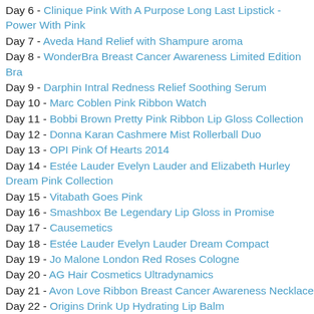Day 6 - Clinique Pink With A Purpose Long Last Lipstick - Power With Pink
Day 7 - Aveda Hand Relief with Shampure aroma
Day 8 - WonderBra Breast Cancer Awareness Limited Edition Bra
Day 9 - Darphin Intral Redness Relief Soothing Serum
Day 10 - Marc Coblen Pink Ribbon Watch
Day 11 - Bobbi Brown Pretty Pink Ribbon Lip Gloss Collection
Day 12 - Donna Karan Cashmere Mist Rollerball Duo
Day 13 - OPI Pink Of Hearts 2014
Day 14 - Estée Lauder Evelyn Lauder and Elizabeth Hurley Dream Pink Collection
Day 15 - Vitabath Goes Pink
Day 16 - Smashbox Be Legendary Lip Gloss in Promise
Day 17 - Causemetics
Day 18 - Estée Lauder Evelyn Lauder Dream Compact
Day 19 - Jo Malone London Red Roses Cologne
Day 20 - AG Hair Cosmetics Ultradynamics
Day 21 - Avon Love Ribbon Breast Cancer Awareness Necklace
Day 22 - Origins Drink Up Hydrating Lip Balm
Day 23 - Estée Lauder Modern Muse Solid Perfume Compact